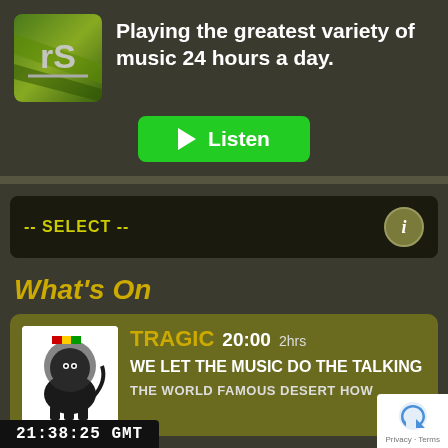[Figure (logo): rS radio station logo — green/gold background with stylized 'rS' text and underline]
Playing the greatest variety of music 24 hours a day.
[Figure (other): Green Listen button with play triangle icon]
-- SELECT --
What's On
[Figure (logo): Reggae lion logo — black and white illustration of the Lion of Judah with Ethiopian flag colors]
TRAGIC  20:00  2hrs
WE LET THE MUSIC DO THE TALKING
THE WORLD FAMOUS DESERT HOW
21:38:25  GMT
[Figure (other): Google reCAPTCHA badge — Privacy · Terms]